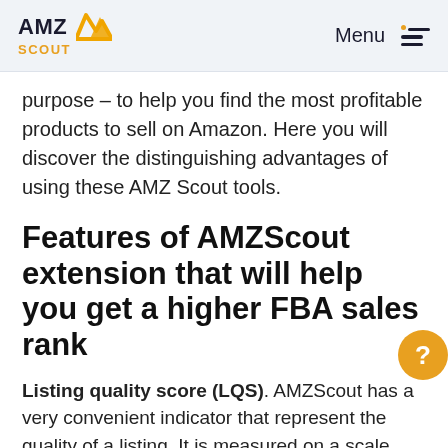AMZ SCOUT — Menu
purpose – to help you find the most profitable products to sell on Amazon. Here you will discover the distinguishing advantages of using these AMZ Scout tools.
Features of AMZScout extension that will help you get a higher FBA sales rank
Listing quality score (LQS). AMZScout has a very convenient indicator that represent the quality of a listing. It is measured on a scale from 1 to 100. If you put your cursor on LQS indicator for a product, you will get the information about the advantages and the disadvantages of the listing.